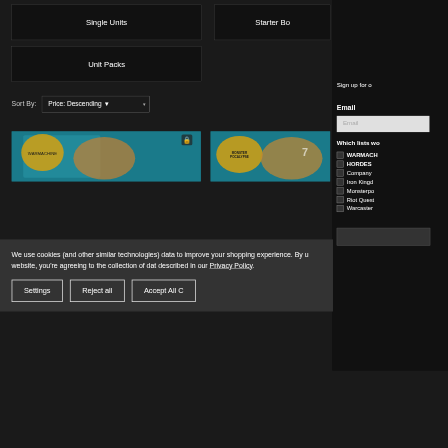Single Units
Starter Bo
Unit Packs
Sort By: Price: Descending
[Figure (screenshot): Product image left - game miniatures on teal background]
[Figure (screenshot): Product image right - Monsterpocalypse game miniatures on teal background]
Sign up for o
Email
Which lists wo
WARMACH
HORDES
Company
Iron Kingd
Monsterpo
Riot Quest
Warcaster
We use cookies (and other similar technologies) data to improve your shopping experience. By u website, you're agreeing to the collection of dat described in our Privacy Policy.
Settings
Reject all
Accept All C